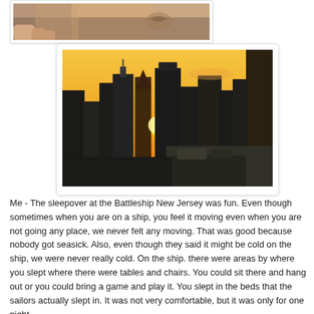[Figure (photo): Partial view of a person's hands and clothing, cropped at top of page]
[Figure (photo): City skyline at sunset with orange/yellow sky and tall buildings, viewed from a rooftop or elevated position]
Me - The sleepover at the Battleship New Jersey was fun. Even though sometimes when you are on a ship, you feel it moving even when you are not going any place, we never felt any moving. That was good because nobody got seasick. Also, even though they said it might be cold on the ship, we were never really cold. On the ship. there were areas by where you slept where there were tables and chairs. You could sit there and hang out or you could bring a game and play it. You slept in the beds that the sailors actually slept in. It was not very comfortable, but it was only for one night.